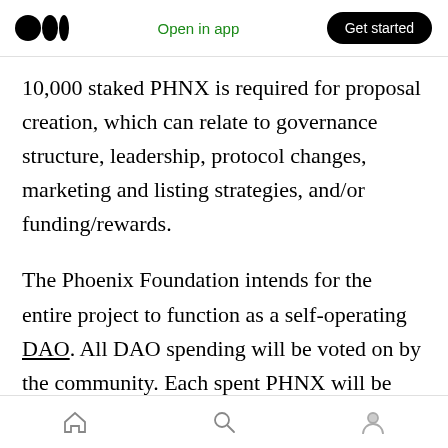Medium app header with logo, Open in app, Get started
10,000 staked PHNX is required for proposal creation, which can relate to governance structure, leadership, protocol changes, marketing and listing strategies, and/or funding/rewards.
The Phoenix Foundation intends for the entire project to function as a self-operating DAO. All DAO spending will be voted on by the community. Each spent PHNX will be noted on a running website budget page for full transparency. The DAO will not rely on outside donations to
Bottom navigation bar with home, search, and profile icons